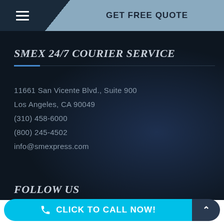GET FREE QUOTE
SMEX 24/7 COURIER SERVICE
11661 San Vicente Blvd., Suite 900
Los Angeles, CA 90049
(310) 458-6000
(800) 245-4502
info@smexpress.com
FOLLOW US
CLICK TO CALL NOW!